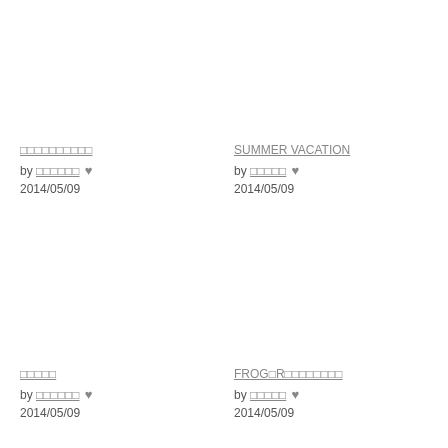□□□□□□□□□□ by □□□□□□ ♥ 2014/05/09
SUMMER VACATION by □□□□□ ♥ 2014/05/09
□□□□□ by □□□□□□ ♥ 2014/05/09
FROG□R□□□□□□□□ by □□□□□ ♥ 2014/05/09